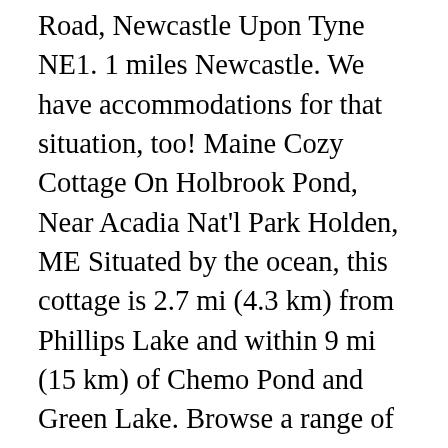Road, Newcastle Upon Tyne NE1. 1 miles Newcastle. We have accommodations for that situation, too! Maine Cozy Cottage On Holbrook Pond, Near Acadia Nat'l Park Holden, ME Situated by the ocean, this cottage is 2.7 mi (4.3 km) from Phillips Lake and within 9 mi (15 km) of Chemo Pond and Green Lake. Browse a range of property to buy in UK with Primelocation. A new day begins in Virginia... See all 814 apartments and houses for rent in Santa Monica, CA, including cheap, affordable, luxury and pet-friendly rentals. We offer fantastic prices on luxury cars, people carriers, minivans and automatic cars. The blue-hued morning mist hugs the Blue Ridge and